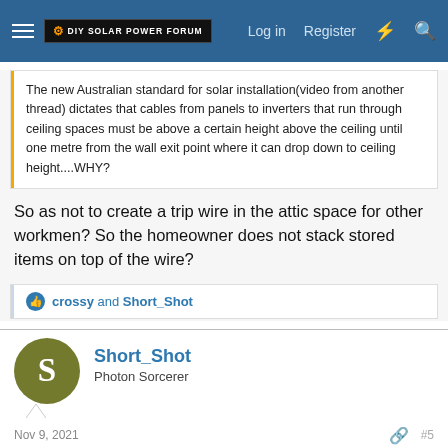DIY SOLAR POWER FORUM — Log in | Register
The new Australian standard for solar installation(video from another thread) dictates that cables from panels to inverters that run through ceiling spaces must be above a certain height above the ceiling until one metre from the wall exit point where it can drop down to ceiling height....WHY?
So as not to create a trip wire in the attic space for other workmen? So the homeowner does not stack stored items on top of the wire?
crossy and Short_Shot
Short_Shot
Photon Sorcerer
Nov 9, 2021
#5
sunshine said:
The new Australian standard for solar installation(video from another